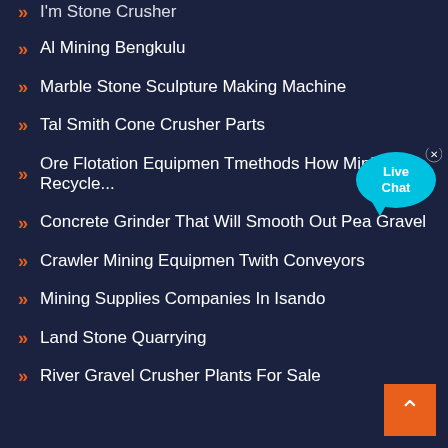I'm Stone Crusher
Al Mining Bengkulu
Marble Stone Sculpture Making Machine
Tal Smith Cone Crusher Parts
Ore Flotation Equipmen Tmethods How Mining Recycle...
Concrete Grinder That Will Smooth Out Pea Gravel
Crawler Mining Equipmen Twith Conveyors
Mining Supplies Companies In Isando
Land Stone Quarrying
River Gravel Crusher Plants For Sale
[Figure (illustration): Live Chat bubble icon with close button, cyan/blue color]
[Figure (illustration): Back to top orange button with upward arrow]